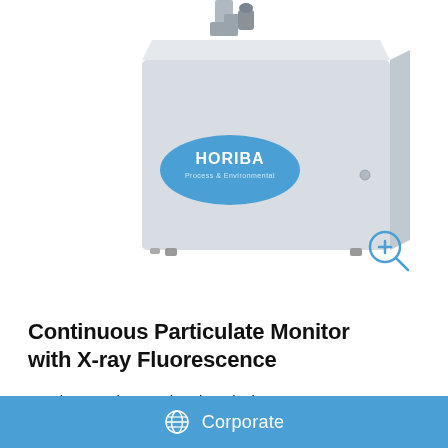[Figure (photo): HORIBA Process & Environmental Continuous Particulate Monitor instrument — a grey rectangular box with a blue oval HORIBA logo and a sampling inlet tube on top, with a zoom/magnify icon in the lower right of the image area.]
Continuous Particulate Monitor with X-ray Fluorescence
Continuous elemental and particulate mass analysis with automatic sampling
Corporate